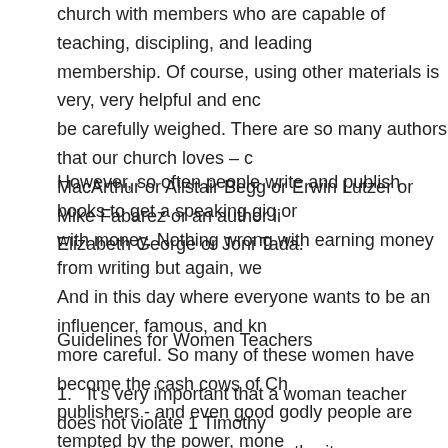church with members who are capable of teaching, discipling, and leading membership. Of course, using other materials is very, very helpful and enc be carefully weighed. There are so many authors that our church loves – c MacArthur or Alistair Begg or Erwin Lutzer or Mike Fabarez or an author li Elizabeth George or Joni Tada.
However, so often people write and publish books to get a speaking gig or with money. Nothing wrong with earning money from writing but again, we And in this day where everyone wants to be an influencer, famous, and kn more careful. So many of these women have become the cash cows of Ch publishers - and even good godly people are tempted by the power, mone end up not holding fast to the truth.
Guidelines for Women Teachers
1. It's very important that a woman teacher does not violate 1 Timothy not to teach or exercise authority over men. Period. This is different group where she shares her testimony or prays or something like th